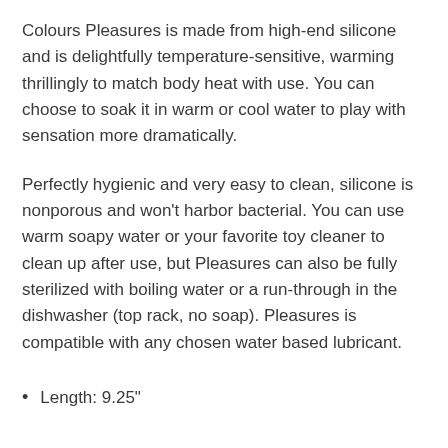Colours Pleasures is made from high-end silicone and is delightfully temperature-sensitive, warming thrillingly to match body heat with use. You can choose to soak it in warm or cool water to play with sensation more dramatically.
Perfectly hygienic and very easy to clean, silicone is nonporous and won't harbor bacterial. You can use warm soapy water or your favorite toy cleaner to clean up after use, but Pleasures can also be fully sterilized with boiling water or a run-through in the dishwasher (top rack, no soap). Pleasures is compatible with any chosen water based lubricant.
Length: 9.25"